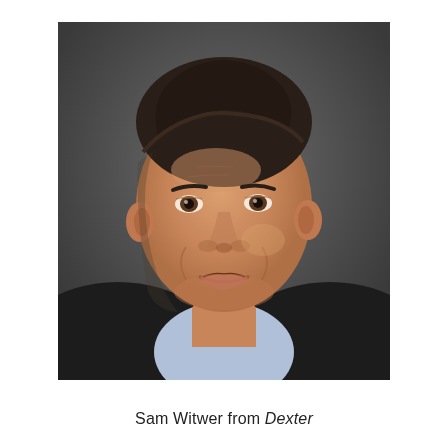[Figure (photo): Headshot of a middle-aged man with dark hair combed back, smiling subtly, wearing a black jacket over a light blue collared shirt, against a dark gray studio background.]
Sam Witwer from Dexter